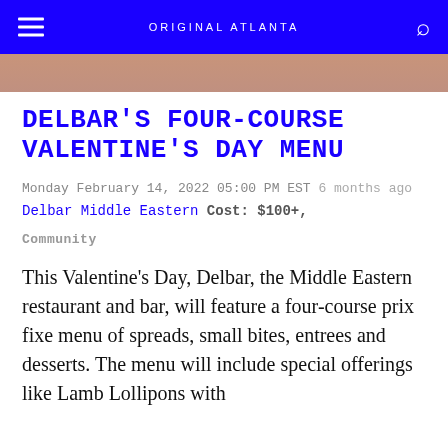ORIGINAL ATLANTA
[Figure (photo): Partial hero image showing a warm pinkish-tan background, top portion of restaurant photo]
DELBAR'S FOUR-COURSE VALENTINE'S DAY MENU
Monday February 14, 2022 05:00 PM EST 6 months ago
Delbar Middle Eastern Cost: $100+,
Community
This Valentine's Day, Delbar, the Middle Eastern restaurant and bar, will feature a four-course prix fixe menu of spreads, small bites, entrees and desserts. The menu will include special offerings like Lamb Lollipops with